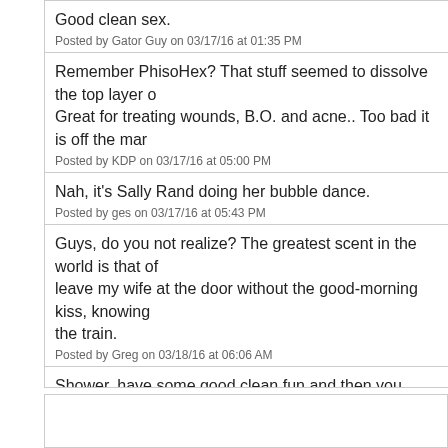Good clean sex.
Posted by Gator Guy on 03/17/16 at 01:35 PM
Remember PhisoHex? That stuff seemed to dissolve the top layer o... Great for treating wounds, B.O. and acne.. Too bad it is off the mar...
Posted by KDP on 03/17/16 at 05:00 PM
Nah, it's Sally Rand doing her bubble dance.
Posted by ges on 03/17/16 at 05:43 PM
Guys, do you not realize? The greatest scent in the world is that of... leave my wife at the door without the good-morning kiss, knowing... the train.
Posted by Greg on 03/18/16 at 06:06 AM
Shower, have some good clean fun and then you need another shov...
Posted by Patty in Ohio, USA on 03/19/16 at 11:11 AM